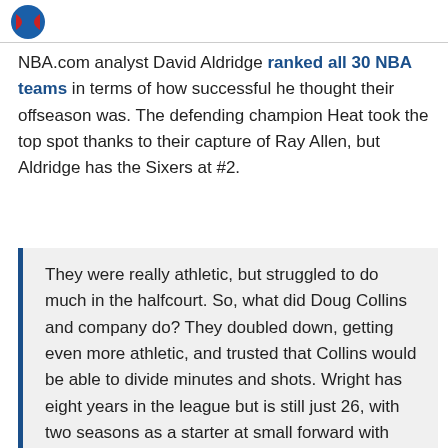[Figure (logo): Partial circular logo, blue and red colors, top left corner]
NBA.com analyst David Aldridge ranked all 30 NBA teams in terms of how successful he thought their offseason was. The defending champion Heat took the top spot thanks to their capture of Ray Allen, but Aldridge has the Sixers at #2.
They were really athletic, but struggled to do much in the halfcourt. So, what did Doug Collins and company do? They doubled down, getting even more athletic, and trusted that Collins would be able to divide minutes and shots. Wright has eight years in the league but is still just 26, with two seasons as a starter at small forward with Golden State under his belt. With Brand amnestied, forward Thaddeus Young will get his best opportunity to capture